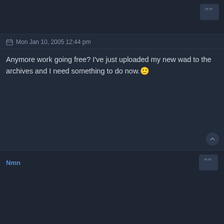Mon Jan 10, 2005 12:44 pm
Anymore work going free? I've just uploaded my new wad to the archives and I need something to do now. 🙂
Nmn
Mon Jan 10, 2005 1:11 pm
Ninja-no one's working on e1m4 rite now as I believe. If You want to do some minor jobs e1m2, e1m5 and e1m8, that are finished, need some enemy/ammo tweaking. Good luck.
Ninja_of_DooM
Mon Jan 10, 2005 1:15 pm
OK, I'll take care of E1M4 for now then adn see what I can do to it if